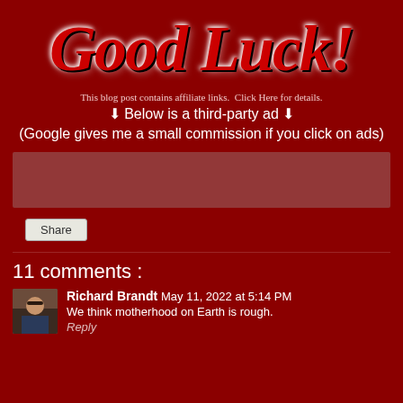Good Luck!
This blog post contains affiliate links.  Click Here for details.
⬇ Below is a third-party ad ⬇
(Google gives me a small commission if you click on ads)
[Figure (other): Gray ad placeholder box]
Share
11 comments :
Richard Brandt  May 11, 2022 at 5:14 PM
We think motherhood on Earth is rough.
Reply